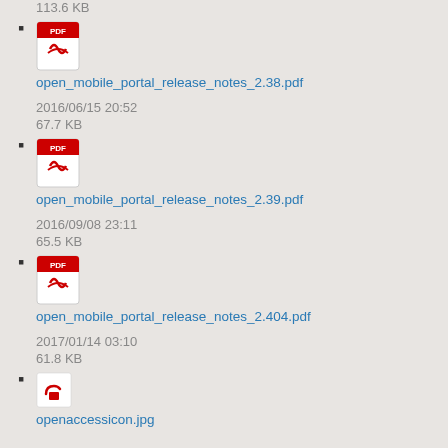113.6 KB
open_mobile_portal_release_notes_2.38.pdf
2016/06/15 20:52
67.7 KB
open_mobile_portal_release_notes_2.39.pdf
2016/09/08 23:11
65.5 KB
open_mobile_portal_release_notes_2.404.pdf
2017/01/14 03:10
61.8 KB
openaccessicon.jpg